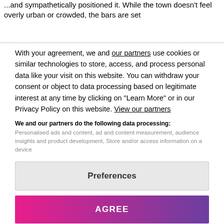...and sympathetically positioned it. While the town doesn't feel overly urban or crowded, the bars are set...
With your agreement, we and our partners use cookies or similar technologies to store, access, and process personal data like your visit on this website. You can withdraw your consent or object to data processing based on legitimate interest at any time by clicking on "Learn More" or in our Privacy Policy on this website. View our partners
We and our partners do the following data processing: Personalised ads and content, ad and content measurement, audience insights and product development, Store and/or access information on a device
Preferences
AGREE